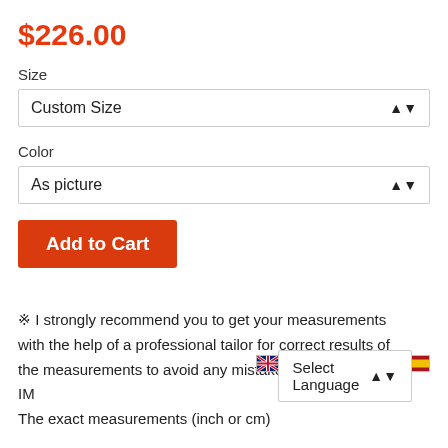$226.00
Size
Custom Size
Color
As picture
Add to Cart
※ I strongly recommend you to get your measurements with the help of a professional tailor for correct results of the measurements to avoid any mistakes, this is VERY IM... The exact measurements (inch or cm)
Select Language